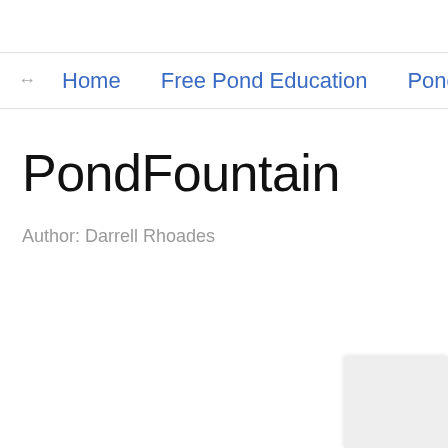↔ Home   Free Pond Education   Pond Bui
PondFountain
Author: Darrell Rhoades